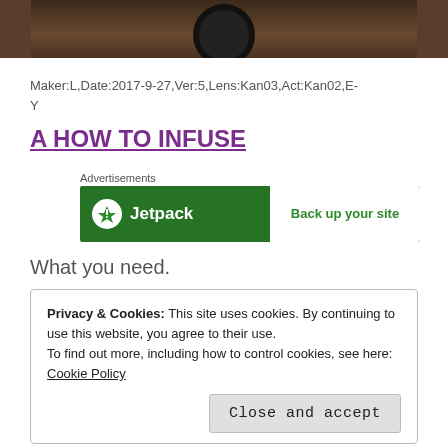[Figure (photo): Top portion of a photo showing what appears to be a lens or circular object on a wooden surface, cropped at the top of the page.]
Maker:L,Date:2017-9-27,Ver:5,Lens:Kan03,Act:Kan02,E-Y
A HOW TO INFUSE
[Figure (screenshot): Jetpack advertisement banner with green background. Left side shows Jetpack logo (lightning bolt icon in white circle) and brand name 'Jetpack'. Right side on white background shows text 'Back up your site'. Above banner is the label 'Advertisements'.]
What you need.
Privacy & Cookies: This site uses cookies. By continuing to use this website, you agree to their use.
To find out more, including how to control cookies, see here: Cookie Policy

Close and accept
If you don't have a scale, then it's typically about